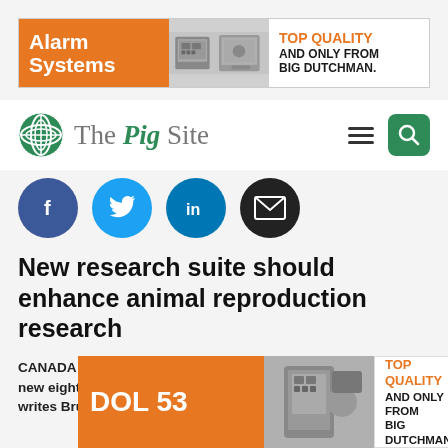[Figure (infographic): Advertisement banner for Big Dutchman Alarm Systems - orange left panel with 'Alarm Systems' text, center product image, right panel with 'TOP QUALITY AND ONLY FROM BIG DUTCHMAN.' text]
[Figure (logo): The Pig Site logo - green globe icon with 'The Pig Site' text, hamburger menu icon and green search button on right]
[Figure (infographic): Social media sharing icons row: Facebook (blue), Twitter (blue), LinkedIn (blue), Email (dark/black), all circular icons]
New research suite should enhance animal reproduction research
CANADA - The Western College of Veterinary Medicine says a new eight million dollar research lab, officially opened, this... under... writes Bruce Cochrane.
[Figure (infographic): Advertisement overlay for Big Dutchman DOL 53 - orange panel, product image, 'TOP QUALITY AND ONLY FROM BIG DUTCHMAN.' text]